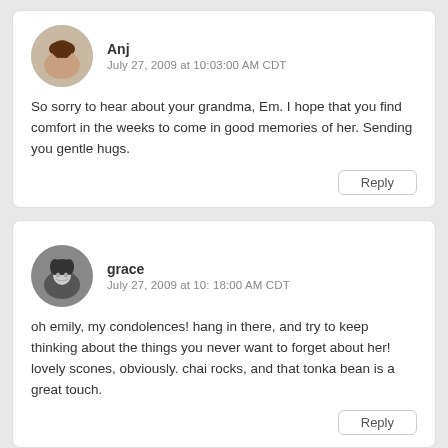Anj
July 27, 2009 at 10:03:00 AM CDT
So sorry to hear about your grandma, Em. I hope that you find comfort in the weeks to come in good memories of her. Sending you gentle hugs.
grace
July 27, 2009 at 10: 18:00 AM CDT
oh emily, my condolences! hang in there, and try to keep thinking about the things you never want to forget about her!
lovely scones, obviously. chai rocks, and that tonka bean is a great touch.